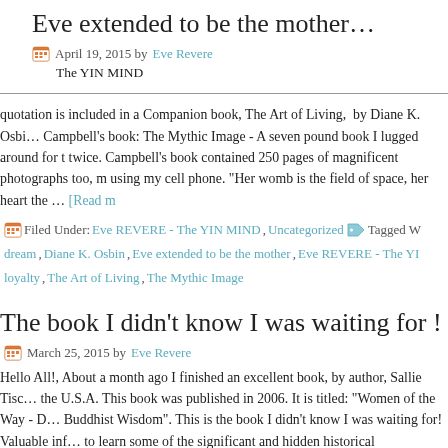Eve extended to be the mother…
April 19, 2015 by Eve Revere
The YIN MIND
quotation is included in a Companion book, The Art of Living, by Diane K. Osbi… Campbell's book: The Mythic Image - A seven pound book I lugged around for t twice. Campbell's book contained 250 pages of magnificent photographs too, m using my cell phone. "Her womb is the field of space, her heart the … [Read m
Filed Under: Eve REVERE - The YIN MIND, Uncategorized Tagged W dream, Diane K. Osbin, Eve extended to be the mother, Eve REVERE - The YI loyalty, The Art of Living, The Mythic Image
The book I didn't know I was waiting for !
March 25, 2015 by Eve Revere
Hello All!, About a month ago I finished an excellent book, by author, Sallie Tisc the U.S.A. This book was published in 2006. It is titled: "Women of the Way - D Buddhist Wisdom". This is the book I didn't know I was waiting for! Valuable inf to learn some of the significant and hidden historical contributions that women h philosophy, etc., that continue to influence the … [Read more...]